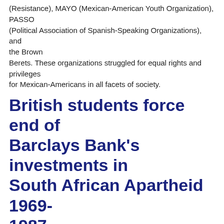(Resistance), MAYO (Mexican-American Youth Organization), PASSO (Political Association of Spanish-Speaking Organizations), and the Brown Berets. These organizations struggled for equal rights and privileges for Mexican-Americans in all facets of society.
British students force end of Barclays Bank's investments in South African Apartheid 1969-1987
| Country | Classification | Cluster | Total points |
| --- | --- | --- | --- |
| United Kingdom | Change | Economic Justice
Human Rights | 10 out of 10 points |